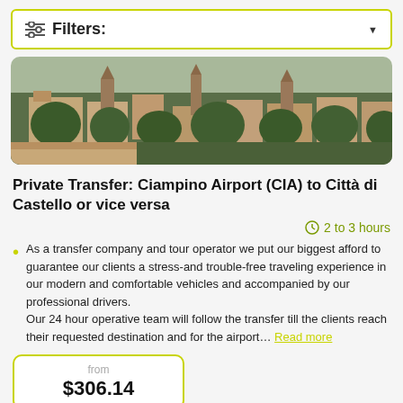Filters:
[Figure (photo): Aerial or elevated view of an Italian city with historic buildings, churches, and trees]
Private Transfer: Ciampino Airport (CIA) to Città di Castello or vice versa
2 to 3 hours
As a transfer company and tour operator we put our biggest afford to guarantee our clients a stress-and trouble-free traveling experience in our modern and comfortable vehicles and accompanied by our professional drivers. Our 24 hour operative team will follow the transfer till the clients reach their requested destination and for the airport… Read more
from $306.14